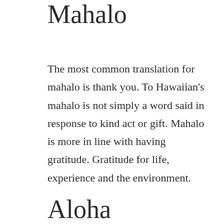Mahalo
The most common translation for mahalo is thank you. To Hawaiian's mahalo is not simply a word said in response to kind act or gift. Mahalo is more in line with having gratitude. Gratitude for life, experience and the environment.
Aloha